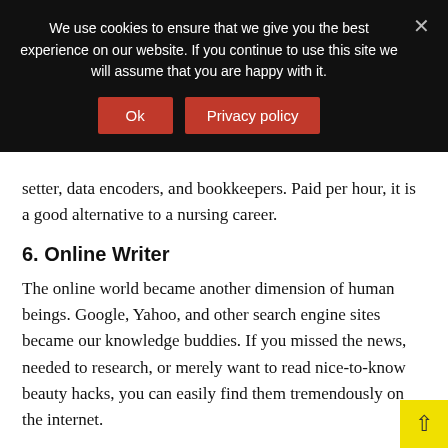We use cookies to ensure that we give you the best experience on our website. If you continue to use this site we will assume that you are happy with it.
setter, data encoders, and bookkeepers. Paid per hour, it is a good alternative to a nursing career.
6. Online Writer
The online world became another dimension of human beings. Google, Yahoo, and other search engine sites became our knowledge buddies. If you missed the news, needed to research, or merely want to read nice-to-know beauty hacks, you can easily find them tremendously on the internet.
This opened doors to online writing jobs. Even you did not finish a college course, to write you can use a website of